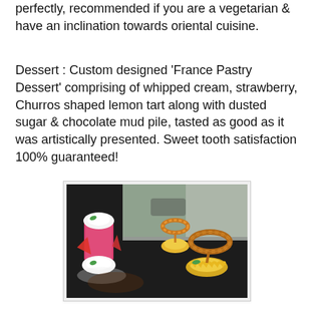perfectly, recommended if you are a vegetarian & have an inclination towards oriental cuisine.
Dessert : Custom designed ‘France Pastry Dessert’ comprising of whipped cream, strawberry, Churros shaped lemon tart along with dusted sugar & chocolate mud pile, tasted as good as it was artistically presented. Sweet tooth satisfaction 100% guaranteed!
[Figure (photo): A plated dessert on a dark slate board featuring pink cylindrical mousse with whipped cream and strawberries on the left, and two lemon tart pastries topped with churros rings on the right, with a bright window background.]